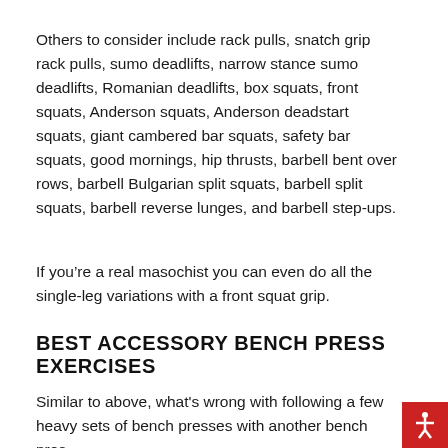Others to consider include rack pulls, snatch grip rack pulls, sumo deadlifts, narrow stance sumo deadlifts, Romanian deadlifts, box squats, front squats, Anderson squats, Anderson deadstart squats, giant cambered bar squats, safety bar squats, good mornings, hip thrusts, barbell bent over rows, barbell Bulgarian split squats, barbell split squats, barbell reverse lunges, and barbell step-ups.
If you’re a real masochist you can even do all the single-leg variations with a front squat grip.
BEST ACCESSORY BENCH PRESS EXERCISES
Similar to above, what’s wrong with following a few heavy sets of bench presses with another bench pres